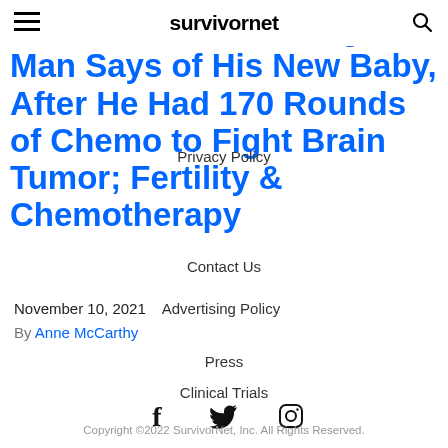survivornet
'He is Such a Blessing' Man Says of His New Baby, After He Had 170 Rounds of Chemo to Fight Brain Tumor; Fertility & Chemotherapy
November 10, 2021   Advertising Policy
By Anne McCarthy
Privacy Policy
Contact Us
Press
Clinical Trials
Copyright ©2022 SurvivorNet, Inc. All Rights Reserved.